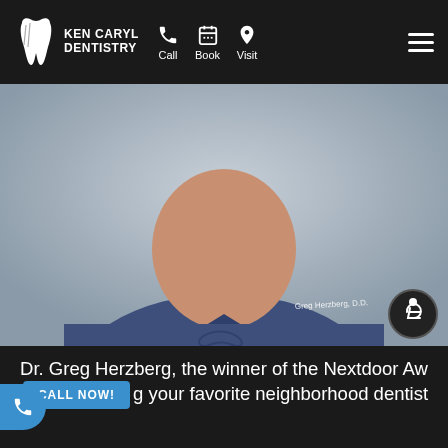Ken Caryl Dentistry — Call | Book | Visit
[Figure (photo): Dr. Greg Herzberg, a dentist wearing navy blue scrubs with his name embroidered on the chest, smiling toward the camera. Background is light gray.]
Dr. Greg Herzberg, the winner of the Nextdoor Award, making your favorite neighborhood dentist